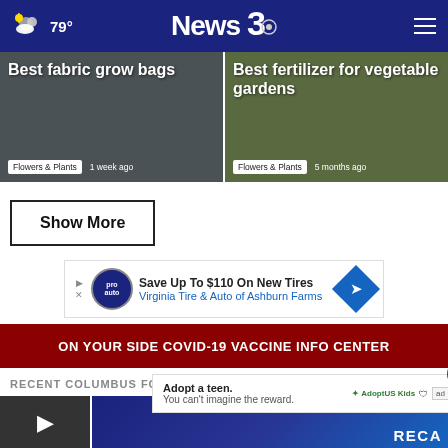79° News3
[Figure (screenshot): Card: Best fabric grow bags, Flowers & Plants, 1 week ago]
[Figure (screenshot): Card: Best fertilizer for vegetable gardens, Flowers & Plants, 5 months ago]
Show More
[Figure (screenshot): Advertisement: Save Up To $110 On New Tires - Virginia Tire & Auto of Ashburn Farms]
[Figure (infographic): ON YOUR SIDE COVID-19 VACCINE INFO CENTER banner]
RECENT COLUMBUS FORECAST UPDATE
[Figure (screenshot): Radar forecast thumbnail with play button]
[Figure (infographic): Popup ad: Adopt a teen. You can't imagine the reward. AdoptUSKids]